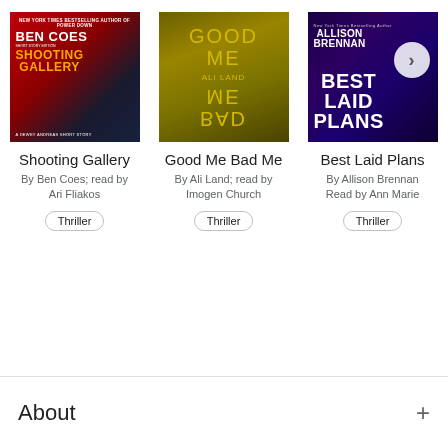[Figure (illustration): Book cover for 'Shooting Gallery' by Ben Coes - red background with author name in white and title in yellow/orange]
Shooting Gallery
By Ben Coes; read by Ari Fliakos
Thriller
[Figure (illustration): Book cover for 'Good Me Bad Me' by Ali Land - golden/yellow-green background with mirrored text and face]
Good Me Bad Me
By Ali Land; read by Imogen Church
Thriller
[Figure (illustration): Book cover for 'Best Laid Plans' by Allison Brennan - dark purple/blue background with white text and arrow icon]
Best Laid Plans
By Allison Brennan; Read by Ann Marie
Thriller
About
+